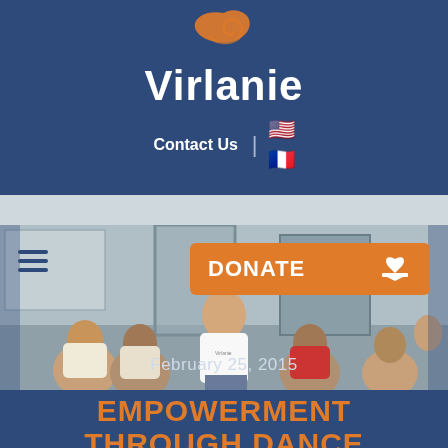[Figure (logo): Virlanie organization logo with orange swoosh graphic above bold white text 'Virlanie' on dark blue background]
Contact Us
[Figure (photo): Children and a Virlanie-shirted person standing near a door, viewed from behind, in an indoor setting]
February 25, 2015
EMPOWERMENT THROUGH DANCE